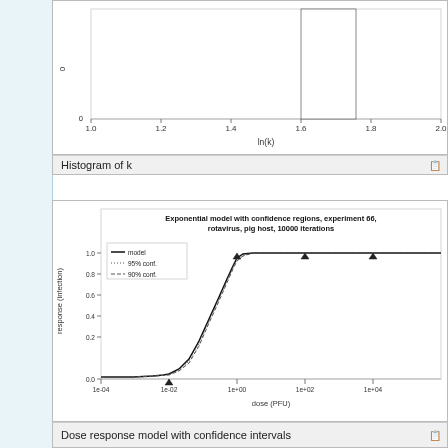[Figure (continuous-plot): Histogram of k - partial view showing bottom portion with x-axis labeled ln(k) ranging from 1.0 to 2.0, y-axis near 0, with a white bar visible at top right]
Histogram of k
[Figure (continuous-plot): Exponential model with confidence regions, experiment 66, rotavirus, pig host, 10000 iterations. Dose-response curve on log x-axis (dose in PFU from 1e-04 to 1e+04), y-axis response (infection) from 0.0 to 1.0. Shows sigmoid S-curve with model (solid line), 95% conf. (dotted), 90% conf. (dashed). Data points (triangles) near 0 at 1e-02, and near 1.0 at 1e+00, 1e+02, 1e+04.]
Dose response model with confidence intervals